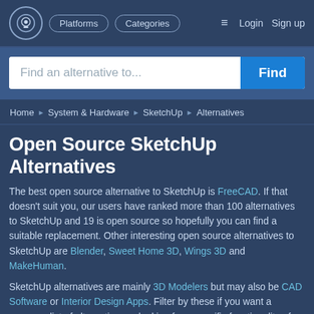Platforms  Categories  Login  Sign up
Find an alternative to...
Home ▶ System & Hardware ▶ SketchUp ▶ Alternatives
Open Source SketchUp Alternatives
The best open source alternative to SketchUp is FreeCAD. If that doesn't suit you, our users have ranked more than 100 alternatives to SketchUp and 19 is open source so hopefully you can find a suitable replacement. Other interesting open source alternatives to SketchUp are Blender, Sweet Home 3D, Wings 3D and MakeHuman.
SketchUp alternatives are mainly 3D Modelers but may also be CAD Software or Interior Design Apps. Filter by these if you want a narrower list of alternatives or looking for a specific functionality of SketchUp.